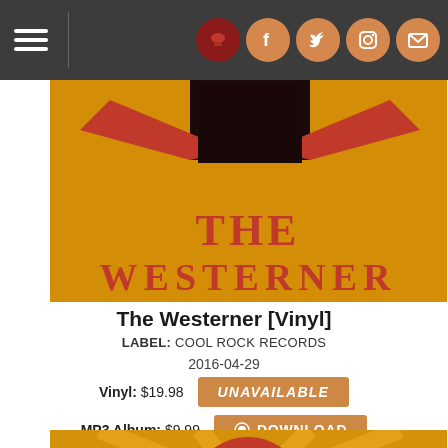[Figure (screenshot): Website navigation bar with hamburger menu icon, vertical divider, and social media icon buttons (logo, Facebook, Twitter, Instagram, email) on dark gray background]
[Figure (photo): Album cover art top portion: orange/yellow background with large red 'THE WESTERNER' text and dark graphic design elements at top]
The Westerner [Vinyl]
LABEL: COOL ROCK RECORDS
2016-04-29
Vinyl: $19.98  UNAVAILABLE
MP3 Album: $9.99  ⊕ DOWNLOAD
[Figure (photo): Bottom portion of an album cover showing a yellow sunburst background with a red circle containing 'JOHN DOE' text, and mountains at the bottom; partially visible]